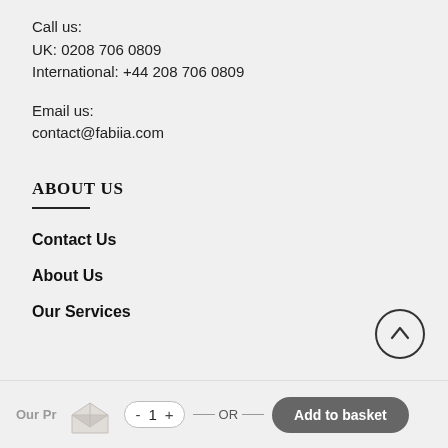Call us:
UK: 0208 706 0809
International: +44 208 706 0809
Email us:
contact@fabiia.com
ABOUT US
Contact Us
About Us
Our Services
Our Pr  -  1  +  — OR —  Add to basket